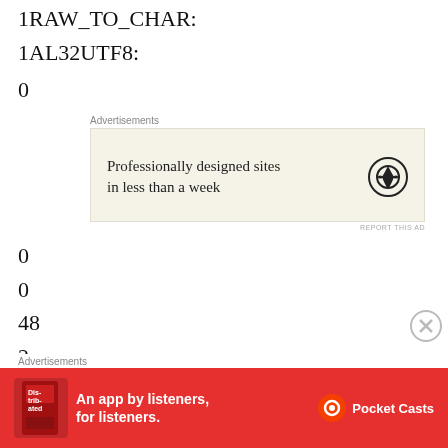1RAW_TO_CHAR:
1AL32UTF8:
0
[Figure (other): WordPress advertisement: 'Professionally designed sites in less than a week' with WordPress logo on beige background]
0
0
48
2
0 a0 8d 8f a0 b0 3d b4
:2 a0 2c 6a a3 a0 51 a5 1c
81 b0 :3 a0 6b :3 a0 a5 b c
[Figure (other): Pocket Casts advertisement: 'An app by listeners, for listeners.' on red background with Pocket Casts logo and book/device imagery]